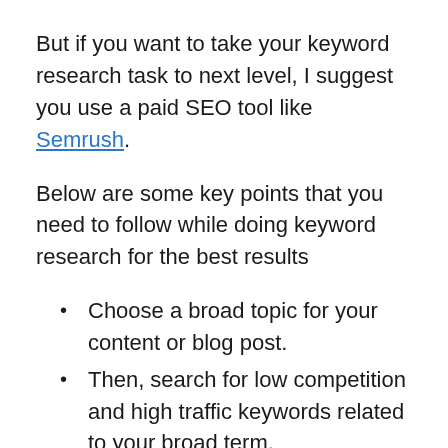But if you want to take your keyword research task to next level, I suggest you use a paid SEO tool like Semrush.
Below are some key points that you need to follow while doing keyword research for the best results
Choose a broad topic for your content or blog post.
Then, search for low competition and high traffic keywords related to your broad term.
Create a list of 6-8 keywords along with long-tail keywords.
Now find LSI keywords related to your